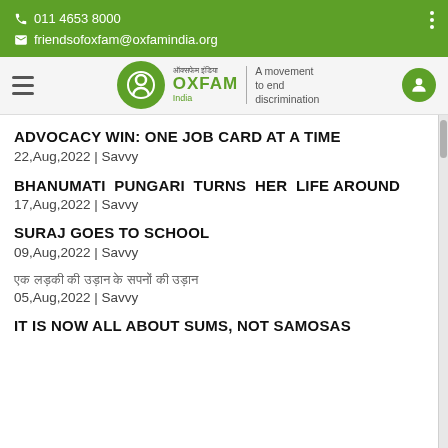011 4653 8000
friendsofoxfam@oxfamindia.org
[Figure (logo): Oxfam India logo with green circle, person icon, Hindi text, OXFAM India text, vertical divider, and tagline 'A movement to end discrimination']
ADVOCACY WIN: ONE JOB CARD AT A TIME
22,Aug,2022 | Savvy
BHANUMATI PUNGARI TURNS HER LIFE AROUND
17,Aug,2022 | Savvy
SURAJ GOES TO SCHOOL
09,Aug,2022 | Savvy
एक लड़की की उड़ान के सपनों की उड़ान
05,Aug,2022 | Savvy
IT IS NOW ALL ABOUT SUMS, NOT SAMOSAS